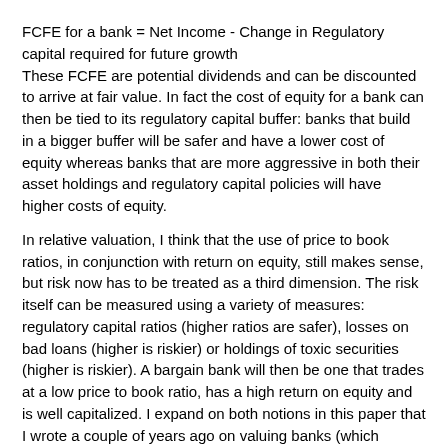FCFE for a bank = Net Income - Change in Regulatory capital required for future growth
These FCFE are potential dividends and can be discounted to arrive at fair value. In fact the cost of equity for a bank can then be tied to its regulatory capital buffer: banks that build in a bigger buffer will be safer and have a lower cost of equity whereas banks that are more aggressive in both their asset holdings and regulatory capital policies will have higher costs of equity.
In relative valuation, I think that the use of price to book ratios, in conjunction with return on equity, still makes sense, but risk now has to be treated as a third dimension. The risk itself can be measured using a variety of measures: regulatory capital ratios (higher ratios are safer), losses on bad loans (higher is riskier) or holdings of toxic securities (higher is riskier). A bargain bank will then be one that trades at a low price to book ratio, has a high return on equity and is well capitalized. I expand on both notions in this paper that I wrote a couple of years ago on valuing banks (which subsequently became a chapter in one of my books): http://papers.ssrn.com/sol3/papers.cfm?